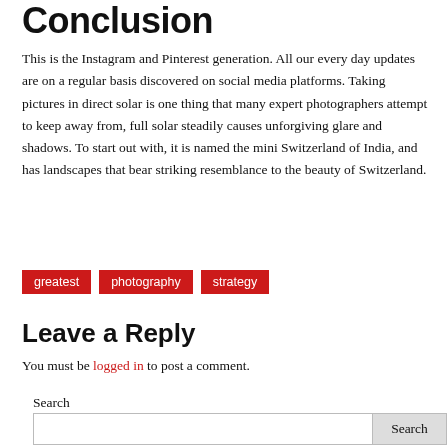Conclusion
This is the Instagram and Pinterest generation. All our every day updates are on a regular basis discovered on social media platforms. Taking pictures in direct solar is one thing that many expert photographers attempt to keep away from, full solar steadily causes unforgiving glare and shadows. To start out with, it is named the mini Switzerland of India, and has landscapes that bear striking resemblance to the beauty of Switzerland.
greatest  photography  strategy
Leave a Reply
You must be logged in to post a comment.
Search